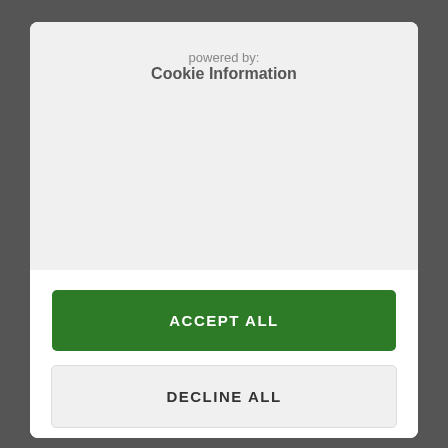powered by: Cookie Information
ACCEPT ALL
DECLINE ALL
SHOW DETAILS